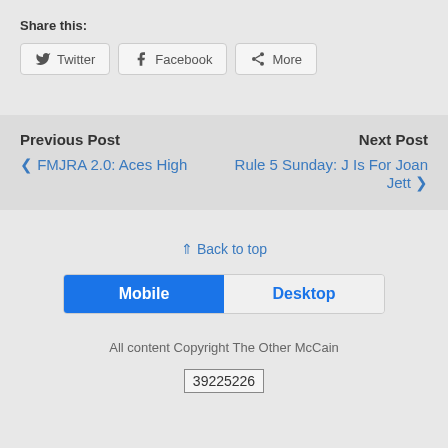Share this:
Twitter  Facebook  More
Previous Post
❮ FMJRA 2.0: Aces High
Next Post
Rule 5 Sunday: J Is For Joan Jett ❯
⇑ Back to top
Mobile  Desktop
All content Copyright The Other McCain
39225226